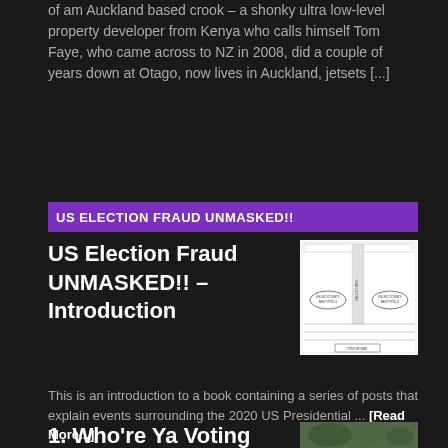of am Auckland based crook – a shonky ultra low-level property developer from Kenya who calls himself Tom Faye, who came across to NZ in 2008, did a couple of years down at Otago, now lives in Auckland, jetsets [...]
US ELECTION FRAUD UNMASKED!!
US Election Fraud UNMASKED!! – Introduction
[Figure (other): Thumbnail image showing a document diagram with oval shapes and boxes, appears to be a ballot or form layout]
This is an introduction to a book containing a series of posts that explain events surrounding the 2020 US Presidential ... [Read More...]
1. Who're Ya Voting For?
[Figure (photo): Small thumbnail showing an outdoor scene with green trees/foliage]